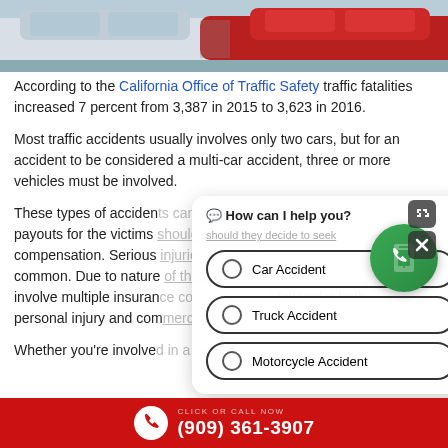[Figure (photo): Two cars involved in a collision, one silver/white and one dark red, photographed from behind/side angle.]
According to the California Office of Traffic Safety traffic fatalities increased 7 percent from 3,387 in 2015 to 3,623 in 2016.
Most traffic accidents usually involves only two cars, but for an accident to be considered a multi-car accident, three or more vehicles must be involved.
These types of accidents can result in large payouts for the victims should they decide to seek compensation. Serious injuries are common. Due to nature of these accidents, these claims involve multiple insurance companies and fall under both personal injury and commercial policies.
Whether you're involved in a large or small accident
[Figure (screenshot): Chat widget overlay showing 'How can I help you?' with options: Car Accident, Truck Accident, Motorcycle Accident]
(909) 361-3907